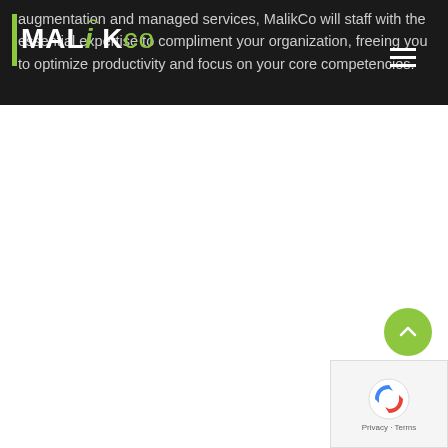IMALiKco
augmentation and managed services, MalikCo will staff with the essential expertise to compliment your organization, freeing you to optimize productivity and focus on your core competencies.
[Figure (other): Scroll-to-top circular green button with upward chevron arrow]
[Figure (other): reCAPTCHA widget with blue/red arrow logo and Privacy - Terms links]